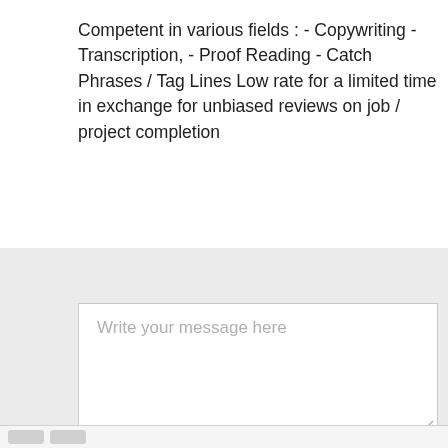Competent in various fields : - Copywriting - Transcription, - Proof Reading - Catch Phrases / Tag Lines Low rate for a limited time in exchange for unbiased reviews on job / project completion
[Figure (screenshot): A web form text area with light gray background and placeholder text 'Write your message here', with a resize handle in the bottom right corner]